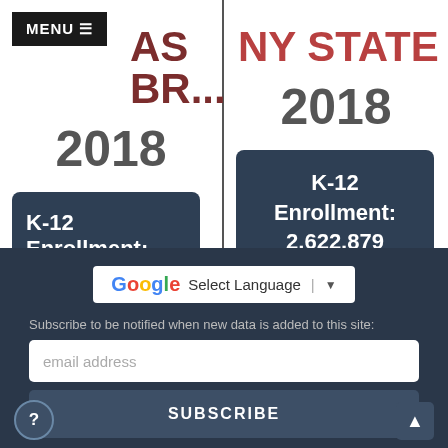AS BR...
NY STATE
2018
2018
K-12 Enrollment: 268
K-12 Enrollment: 2,622,879
[Figure (screenshot): Google Translate Select Language widget]
Subscribe to be notified when new data is added to this site:
email address
SUBSCRIBE